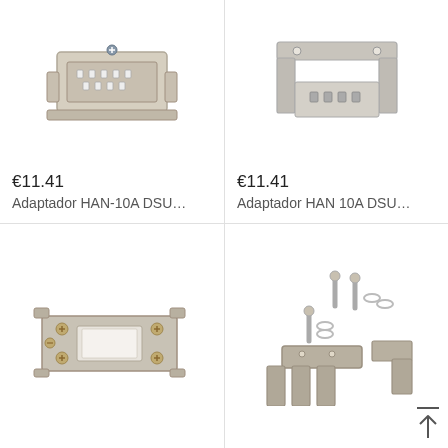[Figure (photo): HAN-10A DSU connector adapter, top-left product photo showing a beige/grey rectangular connector]
€11.41
Adaptador HAN-10A DSU...
[Figure (photo): HAN 10A DSU connector adapter, top-right product photo showing a grey L-shaped bracket connector]
€11.41
Adaptador HAN 10A DSU...
[Figure (photo): Bottom-left product photo showing a flat rectangular metal adapter plate with screws]
[Figure (photo): Bottom-right product photo showing metal connector parts with pins, washers and brackets]